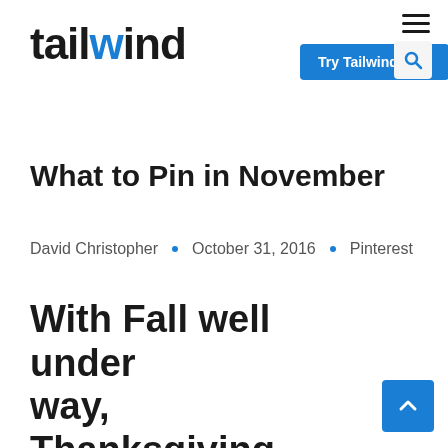tailwind — Try Tailwind Free
What to Pin in November
David Christopher · October 31, 2016 · Pinterest
With Fall well under way, Thanksgiving imminent and